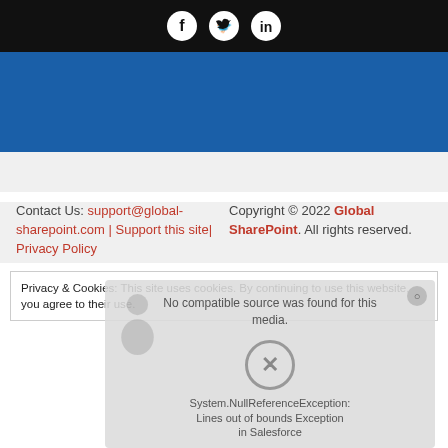[Figure (other): Social media icons (Facebook, Twitter, LinkedIn) on black bar]
[Figure (other): Blue decorative banner bar]
Contact Us: support@global-sharepoint.com | Support this site| Privacy Policy
Copyright © 2022 Global SharePoint. All rights reserved.
Privacy & Cookies: This site uses cookies. By continuing to use this website, you agree to their use.
[Figure (screenshot): Video overlay showing 'No compatible source was found for this media.' with an X close button and text about System.NullReferenceException: Lines out of bounds Exception in Salesforce]